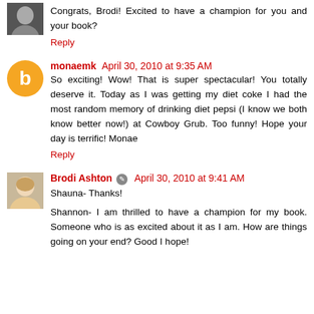Congrats, Brodi! Excited to have a champion for you and your book?
Reply
monaemk  April 30, 2010 at 9:35 AM
So exciting! Wow! That is super spectacular! You totally deserve it. Today as I was getting my diet coke I had the most random memory of drinking diet pepsi (I know we both know better now!) at Cowboy Grub. Too funny! Hope your day is terrific! Monae
Reply
Brodi Ashton  April 30, 2010 at 9:41 AM
Shauna- Thanks!
Shannon- I am thrilled to have a champion for my book. Someone who is as excited about it as I am. How are things going on your end? Good I hope!